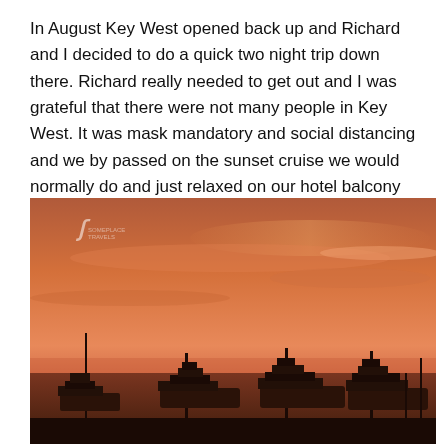In August Key West opened back up and Richard and I decided to do a quick two night trip down there. Richard really needed to get out and I was grateful that there were not many people in Key West. It was mask mandatory and social distancing and we by passed on the sunset cruise we would normally do and just relaxed on our hotel balcony and watched the setting sun both days.
[Figure (photo): A sunset photo of Key West marina with boats docked in the foreground under a dramatic orange-pink sky. A small watermark logo appears in the upper left corner of the image.]